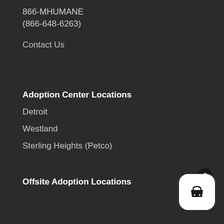866-MHUMANE
(866-648-6263)
Contact Us
Adoption Center Locations
Detroit
Westland
Sterling Heights (Petco)
Offsite Adoption Locations